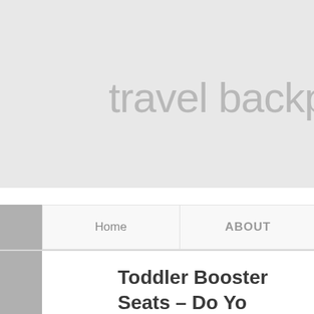travel backpack for
Home   ABOUT
Toddler Booster Seats – Do Yo What Your Options Are?
The safety belts in any vehicle may be totally adequate for use the correct toddler booster seats in order to keep your c travelling.
Most states and countries of the world have specific laws w